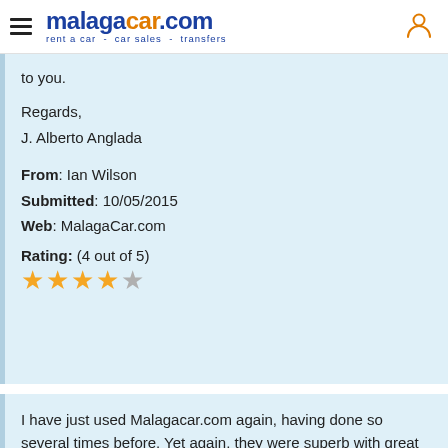malagacar.com — rent a car - car sales - transfers
to you.

Regards,
J. Alberto Anglada

From: Ian Wilson
Submitted: 10/05/2015
Web: MalagaCar.com

Rating: (4 out of 5)
★★★★☆
I have just used Malagacar.com again, having done so several times before. Yet again, they were superb with great cars, great rates and great service. They really are THE BEST car rental company around